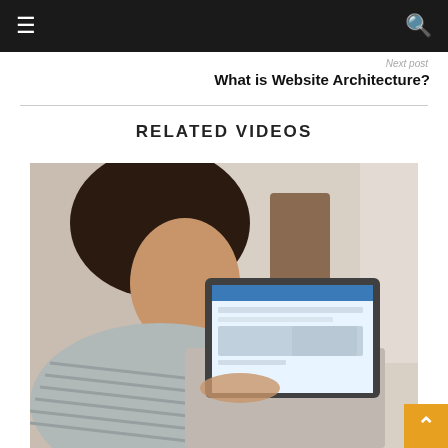☰  [navigation bar with hamburger and search icons]
Next post
What is Website Architecture?
RELATED VIDEOS
[Figure (photo): Woman with dark hair wearing a striped sweater looking down at a laptop screen showing a website with blue header]